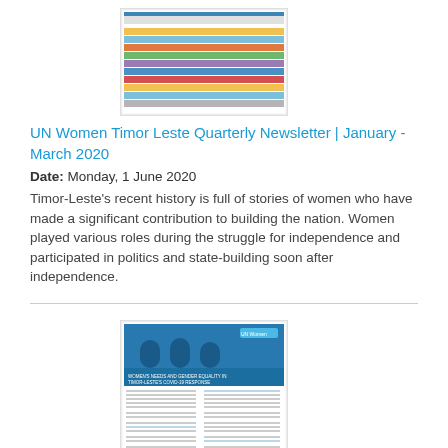[Figure (screenshot): Thumbnail image of UN Women Timor Leste Quarterly Newsletter document with colorful table/chart]
UN Women Timor Leste Quarterly Newsletter | January - March 2020
Date: Monday, 1 June 2020
Timor-Leste's recent history is full of stories of women who have made a significant contribution to building the nation. Women played various roles during the struggle for independence and participated in politics and state-building soon after independence.
[Figure (screenshot): Thumbnail image of In Brief: Women's Needs and Gender Equality in Timor-Leste's COVID-19 Response document with blue header photo]
In Brief: Women's Needs and Gender Equality in Timor-Leste's COVID-19 Response
Date: Wednesday, 20 May 2020